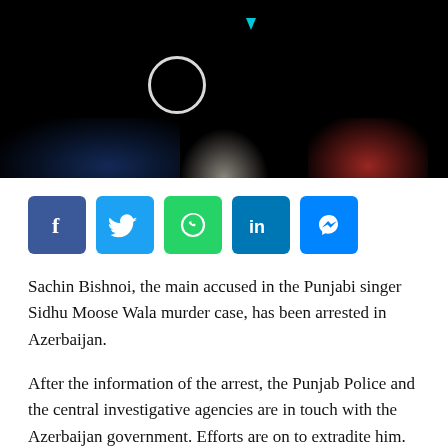[Figure (photo): Dark background news photo with a white circle icon and small teal triangle dot at top, with blue and red blurred light effects at the bottom.]
[Figure (infographic): Row of five social media share buttons: Facebook (blue), Twitter (light blue), WhatsApp (green), LinkedIn (dark blue), Messenger (blue).]
Sachin Bishnoi, the main accused in the Punjabi singer Sidhu Moose Wala murder case, has been arrested in Azerbaijan.
After the information of the arrest, the Punjab Police and the central investigative agencies are in touch with the Azerbaijan government. Efforts are on to extradite him.